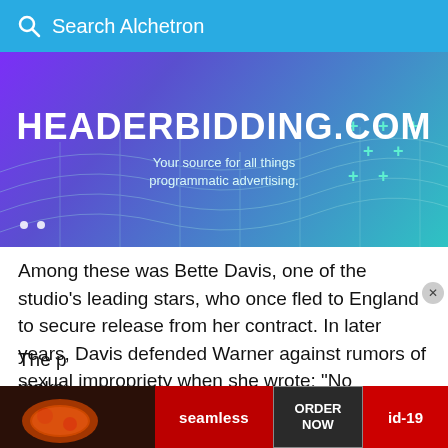Search Alchetron
[Figure (screenshot): Advertisement banner for HEADERBIDDING.COM — 'Your source for all things programmatic advertising.' Purple to teal gradient with grid/mesh and plus-sign decorations.]
Among these was Bette Davis, one of the studio's leading stars, who once fled to England to secure release from her contract. In later years, Davis defended Warner against rumors of sexual impropriety when she wrote: "No lecherous boss was he! His sins lay elsewhere. He was the father. The p[...] make [...]
[Figure (screenshot): Bottom advertisement overlay for Seamless food delivery with ORDER NOW button and id-19 label.]